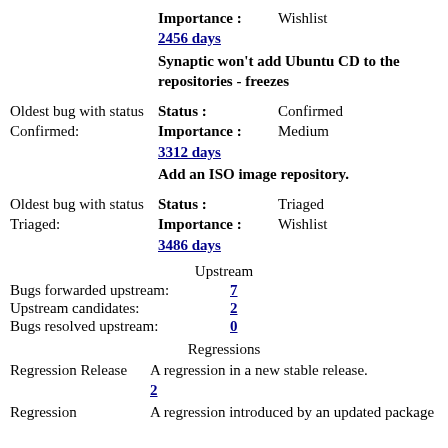Importance: Wishlist
2456 days
Synaptic won't add Ubuntu CD to the repositories - freezes
Oldest bug with status Confirmed:
Status: Confirmed
Importance: Medium
3312 days
Add an ISO image repository.
Oldest bug with status Triaged:
Status: Triaged
Importance: Wishlist
3486 days
Upstream
Bugs forwarded upstream: 7
Upstream candidates: 2
Bugs resolved upstream: 0
Regressions
Regression Release
A regression in a new stable release. 2
Regression
A regression introduced by an updated package